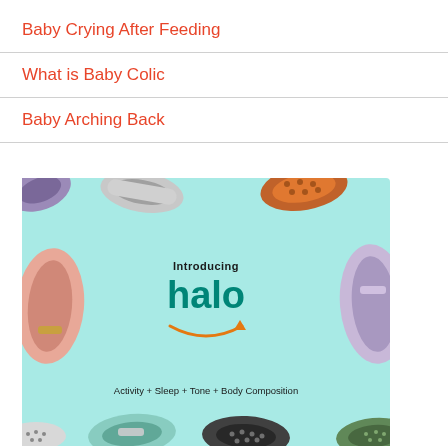Baby Crying After Feeding
What is Baby Colic
Baby Arching Back
[Figure (photo): Amazon Halo fitness band advertisement showing multiple colorful fitness bands on a light teal background. Text reads 'Introducing halo' with Amazon smile logo and 'Activity + Sleep + Tone + Body Composition' tagline.]